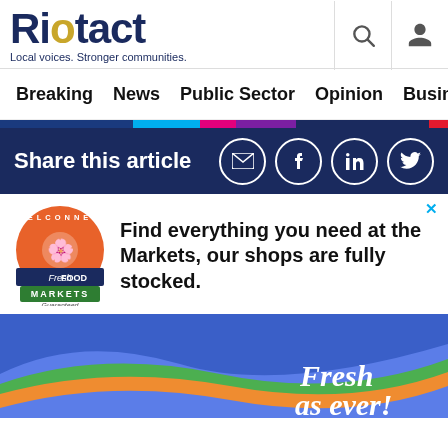Riotact — Local voices. Stronger communities.
Breaking  News  Public Sector  Opinion  Business  R
[Figure (infographic): Colored horizontal bar: dark blue, cyan, pink, purple, dark navy, red segments]
Share this article
[Figure (infographic): Belconnen Fresh Food Markets circular logo with food illustration, navy banner with Fresh FOOD text and green MARKETS banner with Guaranteed script below]
Find everything you need at the Markets, our shops are fully stocked.
[Figure (illustration): Advertisement banner bottom: blue background with swooping green and orange ribbon curves, cursive white text reading 'Fresh as ever!']